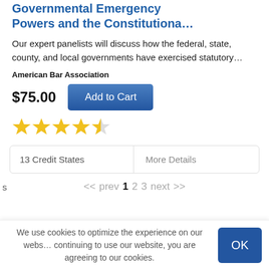Governmental Emergency Powers and the Constitutiona…
Our expert panelists will discuss how the federal, state, county, and local governments have exercised statutory…
American Bar Association
$75.00
Add to Cart
[Figure (other): 4.5 star rating displayed as 4 filled gold stars and 1 half-filled gold star]
13 Credit States
More Details
<< prev 1 2 3 next >>
s
FEATURED NEWS
View Al
We use cookies to optimize the experience on our webs… continuing to use our website, you are agreeing to our cookies.
OK